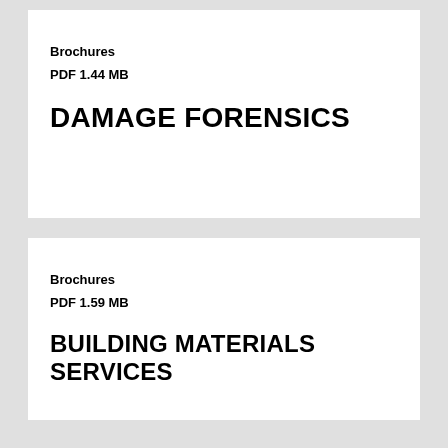Brochures
PDF 1.44 MB
DAMAGE FORENSICS
Brochures
PDF 1.59 MB
BUILDING MATERIALS SERVICES